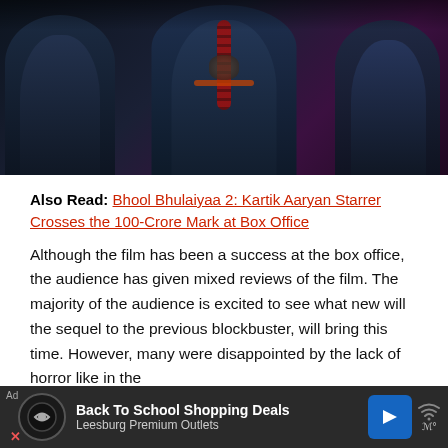[Figure (photo): Three figures dressed in dark blue/black traditional attire sitting together against a deep red/purple background. The central figure appears to be holding prayer beads and has hands in a prayer gesture.]
Also Read: Bhool Bhulaiyaa 2: Kartik Aaryan Starrer Crosses the 100-Crore Mark at Box Office
Although the film has been a success at the box office, the audience has given mixed reviews of the film. The majority of the audience is excited to see what new will the sequel to the previous blockbuster, will bring this time. However, many were disappointed by the lack of horror like in the la...  g.
[Figure (other): Advertisement bar: Back To School Shopping Deals - Leesburg Premium Outlets]